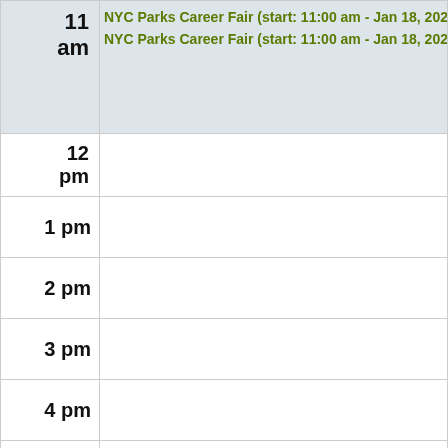| Time | Events |
| --- | --- |
| 11 am | NYC Parks Career Fair (start: 11:00 am - Jan 18, 2022 | end: 03:00
NYC Parks Career Fair (start: 11:00 am - Jan 18, 2022 | end: 03:00 |
| 12 pm |  |
| 1 pm |  |
| 2 pm |  |
| 3 pm |  |
| 4 pm |  |
| 5 pm |  |
| 6 pm |  |
| 7 pm |  |